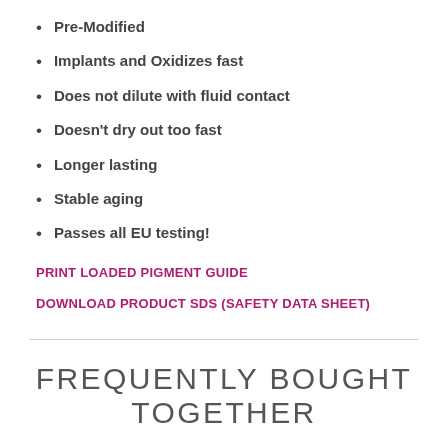Pre-Modified
Implants and Oxidizes fast
Does not dilute with fluid contact
Doesn't dry out too fast
Longer lasting
Stable aging
Passes all EU testing!
PRINT LOADED PIGMENT GUIDE
DOWNLOAD PRODUCT SDS (SAFETY DATA SHEET)
FREQUENTLY BOUGHT TOGETHER